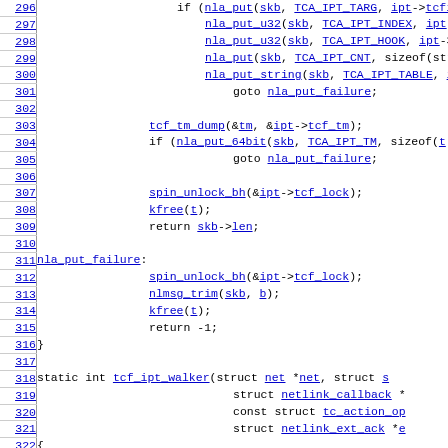Source code viewer showing lines 296-325 of a C kernel networking file (tcf_ipt.c or similar), displaying functions related to nla_put operations, nla_put_failure label, and tcf_ipt_walker function definition.